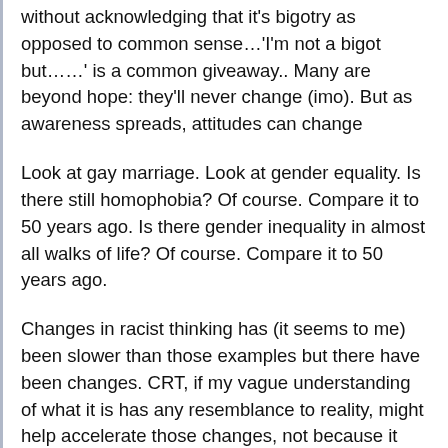without acknowledging that it's bigotry as opposed to common sense…'I'm not a bigot but……' is a common giveaway.. Many are beyond hope: they'll never change (imo). But as awareness spreads, attitudes can change
Look at gay marriage. Look at gender equality. Is there still homophobia? Of course. Compare it to 50 years ago. Is there gender inequality in almost all walks of life? Of course. Compare it to 50 years ago.
Changes in racist thinking has (it seems to me) been slower than those examples but there have been changes. CRT, if my vague understanding of what it is has any resemblance to reality, might help accelerate those changes, not because it offers a prescription for change but because it helps open eyes to the often out-of-sight structural factors that foster and perpetuate prejudice
Now, again, my vague understanding is that CRT is an academic approach…..not intended for pre-college level education, and I suspect only a small number of college students would ever @ctually take a CRT course but even so as it's ideas become more broadly known, it may (one hopes) contribute to that consciousness